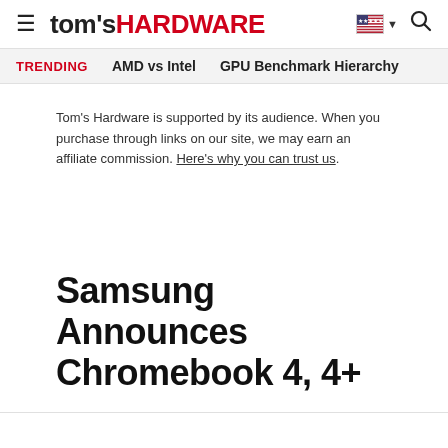tom's HARDWARE
TRENDING   AMD vs Intel   GPU Benchmark Hierarchy
Tom's Hardware is supported by its audience. When you purchase through links on our site, we may earn an affiliate commission. Here's why you can trust us.
Samsung Announces Chromebook 4, 4+